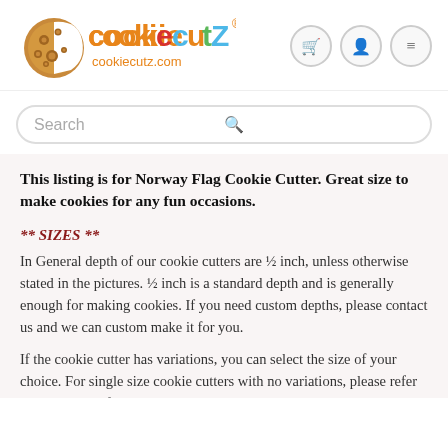[Figure (logo): CookieCutZ logo with cookie graphic and colorful text, cookiecutz.com URL below, registered trademark symbol]
Search
This listing is for Norway Flag Cookie Cutter. Great size to make cookies for any fun occasions.
** SIZES **
In General depth of our cookie cutters are ½ inch, unless otherwise stated in the pictures. ½ inch is a standard depth and is generally enough for making cookies. If you need custom depths, please contact us and we can custom make it for you.
If the cookie cutter has variations, you can select the size of your choice. For single size cookie cutters with no variations, please refer to the pictures for the sizes. Please